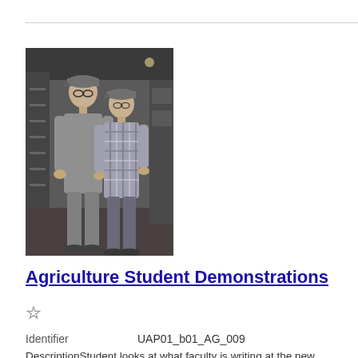[Figure (photo): Black and white photograph of two male students wearing caps, standing indoors in what appears to be an agricultural facility. One student wearing coveralls and glasses looks at something being written by the other student in a plaid shirt.]
Agriculture Student Demonstrations
☆
Identifier   UAP01_b01_AG_009
DescriptionStudent looks at what faculty is writing at the new